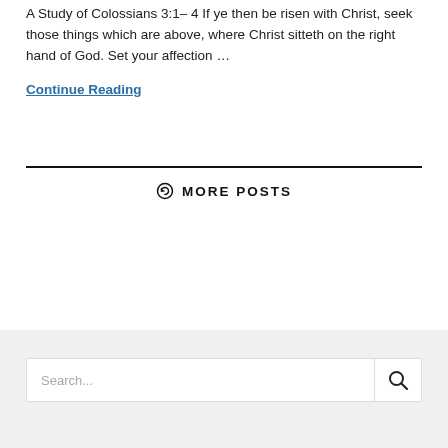A Study of Colossians 3:1– 4 If ye then be risen with Christ, seek those things which are above, where Christ sitteth on the right hand of God. Set your affection …
Continue Reading
MORE POSTS
Search...